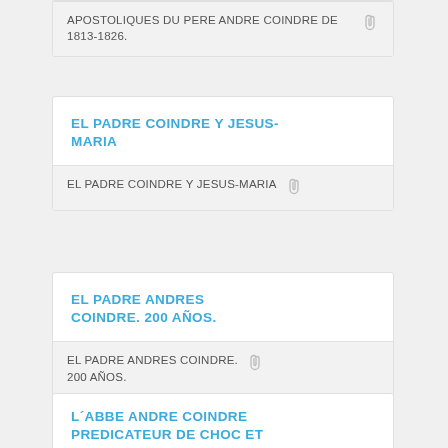APOSTOLIQUES DU PERE ANDRE COINDRE DE 1813-1826.
EL PADRE COINDRE Y JESUS-MARIA
EL PADRE COINDRE Y JESUS-MARIA
EL PADRE ANDRES COINDRE. 200 AÑOS.
EL PADRE ANDRES COINDRE. 200 AÑOS.
L´ABBE ANDRE COINDRE PREDICATEUR DE CHOC ET COEUR DE PERE EN DES TEMPS DE GRANDE MISERE